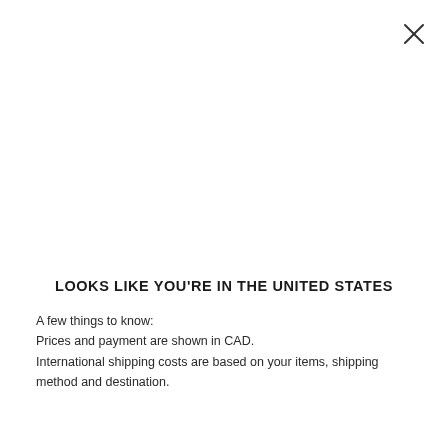[Figure (other): Close button (X) in upper right corner]
LOOKS LIKE YOU'RE IN THE UNITED STATES
A few things to know:
Prices and payment are shown in CAD.
International shipping costs are based on your items, shipping method and destination.